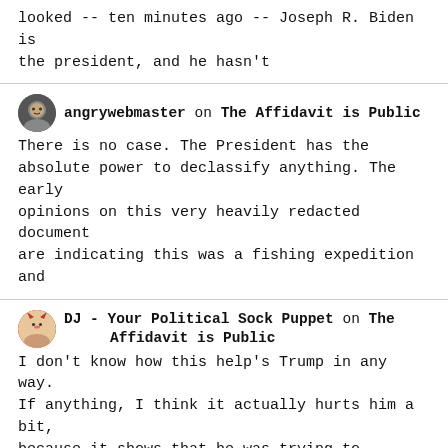looked -- ten minutes ago -- Joseph R. Biden is the president, and he hasn't
angrywebmaster on The Affidavit is Public
There is no case. The President has the absolute power to declassify anything. The early opinions on this very heavily redacted document are indicating this was a fishing expedition and
DJ - Your Political Sock Puppet on The Affidavit is Public
I don't know how this help's Trump in any way. If anything, I think it actually hurts him a bit, because it shows that he was trying to obstruct the
DJ - Your Political Sock Puppet on This is Bloody Genius!
For what, providing more guns? :em05: I'm sure